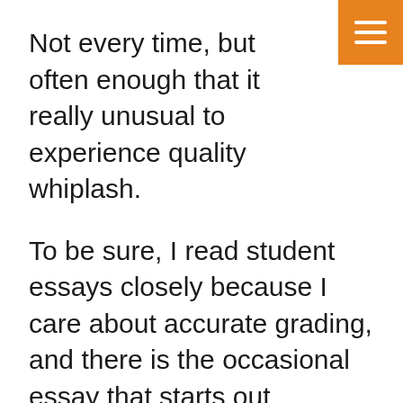Not every time, but often enough that it really unusual to experience quality whiplash.
To be sure, I read student essays closely because I care about accurate grading, and there is the occasional essay that starts out meandering and finds its point halfway through, with a strong finish. But most of the federal GS 10s, 11s, and 12s reading proposals aren't going to care as much as they should. So first impressions count for a lot, and your abstract is your first